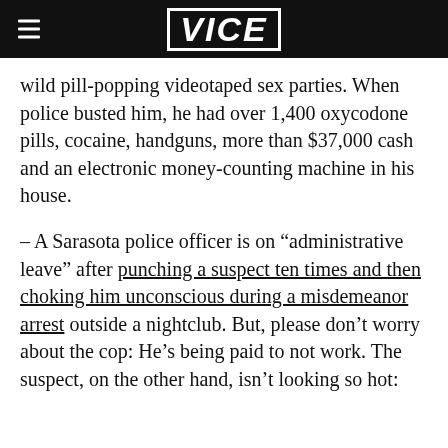VICE
wild pill-popping videotaped sex parties. When police busted him, he had over 1,400 oxycodone pills, cocaine, handguns, more than $37,000 cash and an electronic money-counting machine in his house.
– A Sarasota police officer is on “administrative leave” after punching a suspect ten times and then choking him unconscious during a misdemeanor arrest outside a nightclub. But, please don’t worry about the cop: He’s being paid to not work. The suspect, on the other hand, isn’t looking so hot: